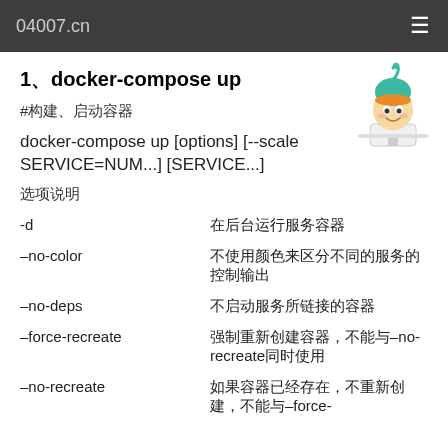04007.cn
1、docker-compose up
#构建、启动容器
docker-compose up [options] [--scale SERVICE=NUM...] [SERVICE...]
选项说明
| Option | Description |
| --- | --- |
| -d | 在后台运行服务容器 |
| –no-color | 不使用颜色来区分不同的服务的控制输出 |
| –no-deps | 不启动服务所链接的容器 |
| –force-recreate | 强制重新创建容器，不能与–no-recreate同时使用 |
| –no-recreate | 如果容器已经存在，不重新创建，不能与–force- |
[Figure (illustration): Cartoon mascot character with teal hair and orange hat, sitting at a desk]